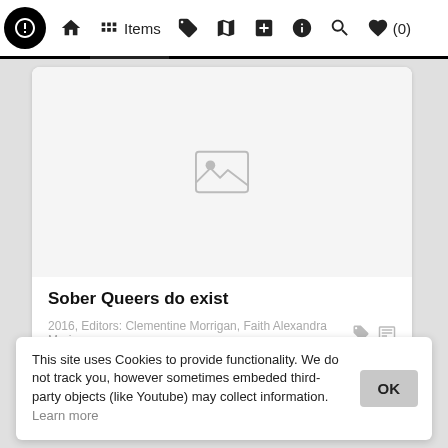N [logo] | Home | Items | [tag icon] | [map icon] | [plus icon] | [info icon] | [search icon] | ♥ (0)
[Figure (screenshot): A white card with a broken/placeholder image icon centered in a large grey image area, showing a mountain/landscape placeholder icon in grey.]
Sober Queers do exist
2016, Editors: Clementine Morrigan, Faith Alexandra Marie
This site uses Cookies to provide functionality. We do not track you, however sometimes embeded third-party objects (like Youtube) may collect information. Learn more